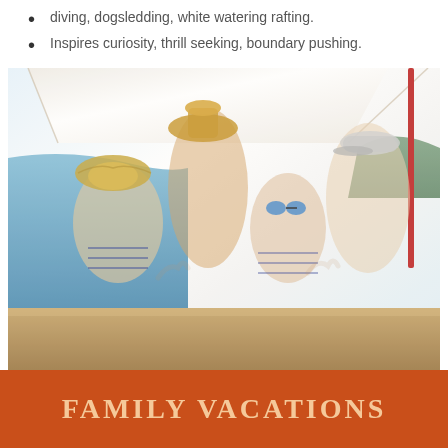diving, dogsledding, white watering rafting.
Inspires curiosity, thrill seeking, boundary pushing.
[Figure (photo): A happy family of four — two adults and two children — sitting on the deck of a sailboat on a sunny day, all giving thumbs up and smiling. The adults wear sunglasses and straw/baseball hats; the children wear striped swimwear.]
FAMILY VACATIONS